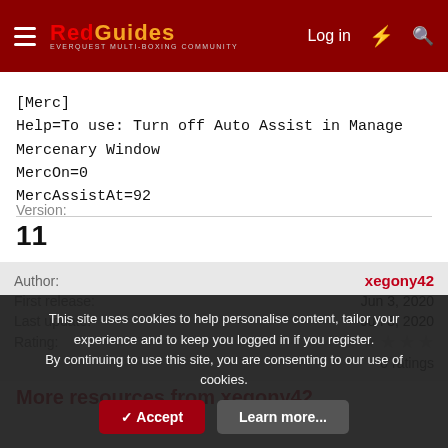RedGuides — Log in
[Merc]
Help=To use: Turn off Auto Assist in Manage Mercenary Window
MercOn=0
MercAssistAt=92
Version:
11
Author: xegony42
First release: Jun 3, 2020
Last update: Jun 3, 2020
Rating: 0 ratings
More resources from xegony42
This site uses cookies to help personalise content, tailor your experience and to keep you logged in if you register.
By continuing to use this site, you are consenting to our use of cookies.
✓ Accept    Learn more...